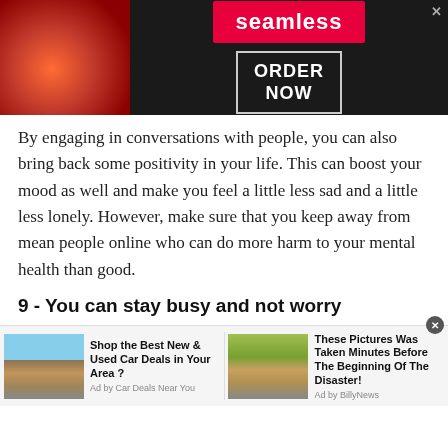[Figure (illustration): Advertisement banner for Seamless food delivery with pizza image on left, Seamless red logo badge in center, ORDER NOW button in white box on right, dark background]
By engaging in conversations with people, you can also bring back some positivity in your life. This can boost your mood as well and make you feel a little less sad and a little less lonely. However, make sure that you keep away from mean people online who can do more harm to your mental health than good.
9 - You can stay busy and not worry
Another way chatting with strangers helps deal with loneliness is that it keeps you busy which helps stave off
[Figure (illustration): Two advertisement blocks at bottom: left shows a car deal ad 'Shop the Best New & Used Car Deals in Your Area?' by Car Deals Near You; right shows 'These Pictures Was Taken Minutes Before The Beginning Of The Disaster!' by BillyNews, with flood/disaster image]